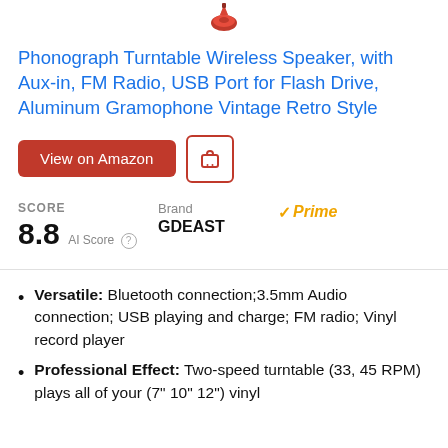[Figure (logo): Small phonograph/turntable icon at top center]
Phonograph Turntable Wireless Speaker, with Aux-in, FM Radio, USB Port for Flash Drive, Aluminum Gramophone Vintage Retro Style
View on Amazon [button] [cart icon button]
SCORE
8.8  AI Score ?
Brand
GDEAST
✓Prime
Versatile: Bluetooth connection;3.5mm Audio connection; USB playing and charge; FM radio; Vinyl record player
Professional Effect: Two-speed turntable (33, 45 RPM) plays all of your (7" 10" 12") vinyl